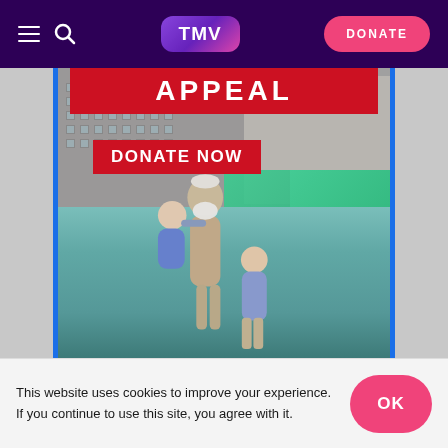TMV — DONATE
[Figure (photo): An elderly bearded man carrying a young child and accompanied by another child, wading through flood water in front of buildings. A red banner reads 'APPEAL' and a red button reads 'DONATE NOW'. The image has blue side borders.]
This website uses cookies to improve your experience. If you continue to use this site, you agree with it.